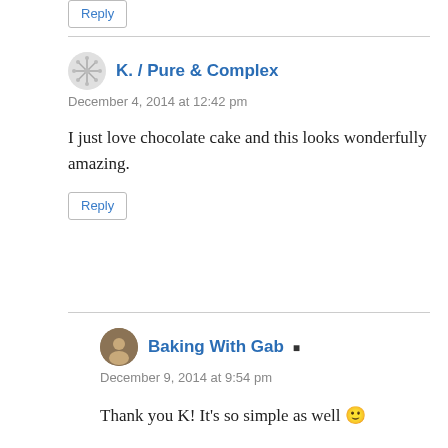Reply
K. / Pure & Complex
December 4, 2014 at 12:42 pm
I just love chocolate cake and this looks wonderfully amazing.
Reply
Baking With Gab
December 9, 2014 at 9:54 pm
Thank you K! It's so simple as well 🙂